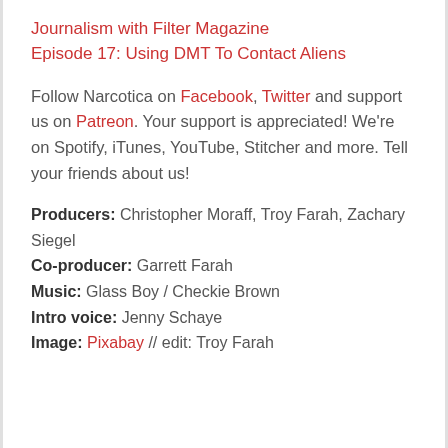Journalism with Filter Magazine
Episode 17: Using DMT To Contact Aliens
Follow Narcotica on Facebook, Twitter and support us on Patreon. Your support is appreciated! We're on Spotify, iTunes, YouTube, Stitcher and more. Tell your friends about us!
Producers: Christopher Moraff, Troy Farah, Zachary Siegel
Co-producer: Garrett Farah
Music: Glass Boy / Checkie Brown
Intro voice: Jenny Schaye
Image: Pixabay // edit: Troy Farah